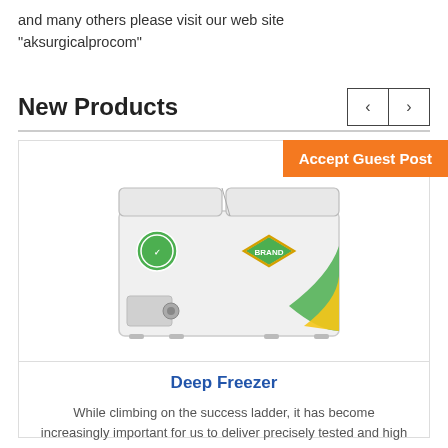and many others please visit our web site "aksurgicalprocom"
New Products
[Figure (photo): White chest deep freezer with green and yellow brand logo/label on the side]
Accept Guest Post
Deep Freezer
While climbing on the success ladder, it has become increasingly important for us to deliver precisely tested and high grade assortment of dee...